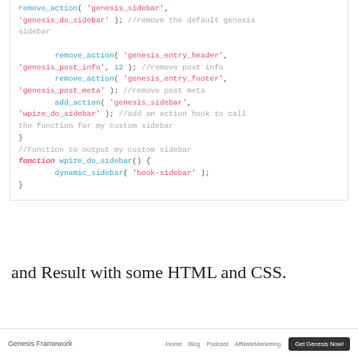remove_action( 'genesis_sidebar', 'genesis_do_sidebar' ); //remove the default genesis sidebar
        remove_action( 'genesis_entry_header', 'genesis_post_info', 12 ); //remove post info
        remove_action( 'genesis_entry_footer', 'genesis_post_meta' ); //remove post meta
        add_action( 'genesis_sidebar', 'wpize_do_sidebar' ); //add an action hook to call the function for my custom sidebar
}
//Function to output my custom sidebar
function wpize_do_sidebar() {
        dynamic_sidebar( 'book-sidebar' );
}
and Result with some HTML and CSS.
Genesis Framework   Home  Blog  Podcast  AffiliateMarketing   Get Genesis Now!